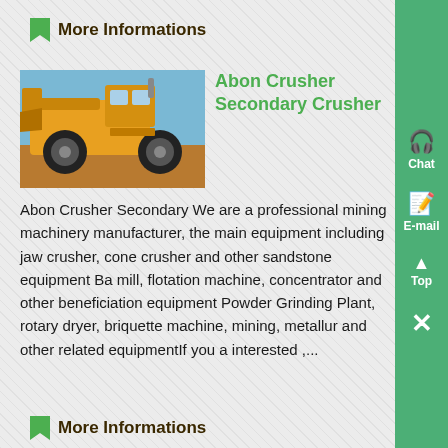More Informations
[Figure (photo): Yellow large wheel loader / mining machine against a blue sky background]
Abon Crusher Secondary Crusher
Abon Crusher Secondary We are a professional mining machinery manufacturer, the main equipment including jaw crusher, cone crusher and other sandstone equipment Ball mill, flotation machine, concentrator and other beneficiation equipment Powder Grinding Plant, rotary dryer, briquette machine, mining, metallurgy and other related equipmentIf you are interested ,...
More Informations